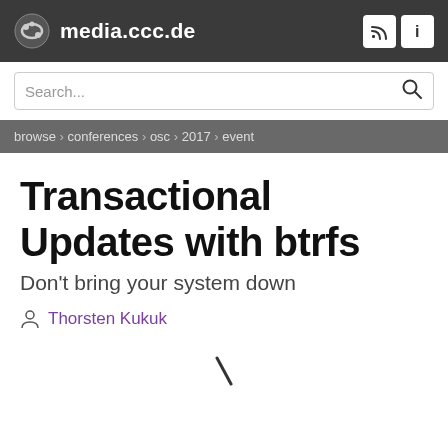media.ccc.de
browse > conferences > osc > 2017 > event
Transactional Updates with btrfs
Don't bring your system down
Thorsten Kukuk